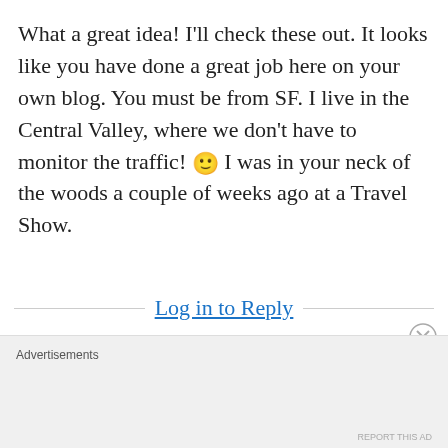What a great idea! I'll check these out. It looks like you have done a great job here on your own blog. You must be from SF. I live in the Central Valley, where we don't have to monitor the traffic! 🙂 I was in your neck of the woods a couple of weeks ago at a Travel Show.
Log in to Reply
Advertisements